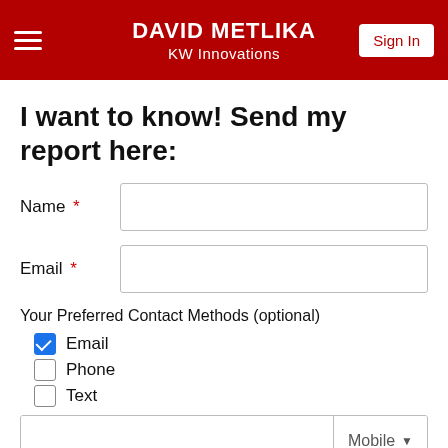DAVID METLIKA / KW Innovations / Sign In
I want to know! Send my report here:
Name *
Email *
Your Preferred Contact Methods (optional)
Email (checked)
Phone
Text
Mobile dropdown phone field
Zoom
Skype
WhatsApp
FaceTime
Google Duo
Video chat used for prearranged appointments only